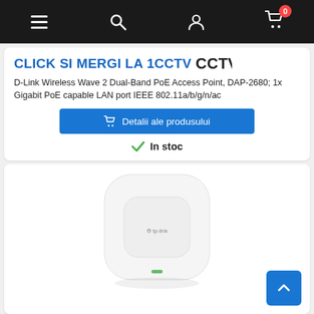Navigation bar with menu, search, account, cart icons
CLICK SI MERGI LA 1CCTV
D-Link Wireless Wave 2 Dual-Band PoE Access Point, DAP-2680; 1x Gigabit PoE capable LAN port IEEE 802.11a/b/g/n/ac
Detalii ale produsului
In stoc
[Figure (photo): TP-Link white ceiling-mount wireless access point product photo on white background]